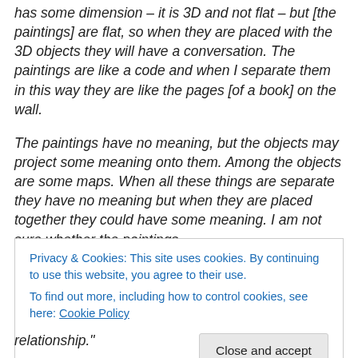has some dimension – it is 3D and not flat – but [the paintings] are flat, so when they are placed with the 3D objects they will have a conversation. The paintings are like a code and when I separate them in this way they are like the pages [of a book] on the wall.
The paintings have no meaning, but the objects may project some meaning onto them. Among the objects are some maps. When all these things are separate they have no meaning but when they are placed together they could have some meaning. I am not sure whether the paintings
Privacy & Cookies: This site uses cookies. By continuing to use this website, you agree to their use.
To find out more, including how to control cookies, see here: Cookie Policy
Close and accept
relationship."